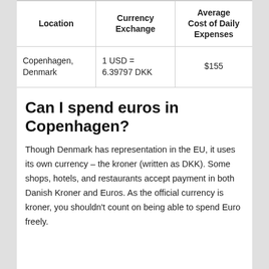| Location | Currency Exchange | Average Cost of Daily Expenses |
| --- | --- | --- |
| Copenhagen, Denmark | 1 USD = 6.39797 DKK | $155 |
Can I spend euros in Copenhagen?
Though Denmark has representation in the EU, it uses its own currency – the kroner (written as DKK). Some shops, hotels, and restaurants accept payment in both Danish Kroner and Euros. As the official currency is kroner, you shouldn't count on being able to spend Euro freely.